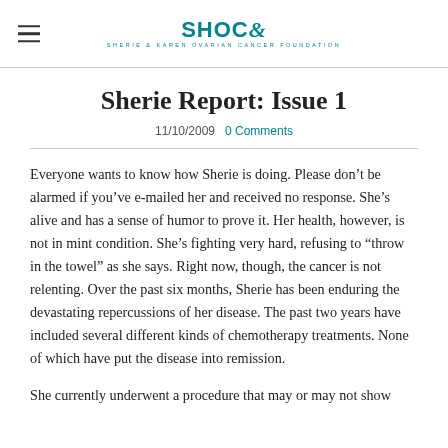SHOC Foundation
Sherie Report: Issue 1
11/10/2009  0 Comments
Everyone wants to know how Sherie is doing. Please don’t be alarmed if you’ve e-mailed her and received no response. She’s alive and has a sense of humor to prove it. Her health, however, is not in mint condition. She’s fighting very hard, refusing to “throw in the towel” as she says. Right now, though, the cancer is not relenting. Over the past six months, Sherie has been enduring the devastating repercussions of her disease. The past two years have included several different kinds of chemotherapy treatments. None of which have put the disease into remission.
She currently underwent a procedure that may or may not show